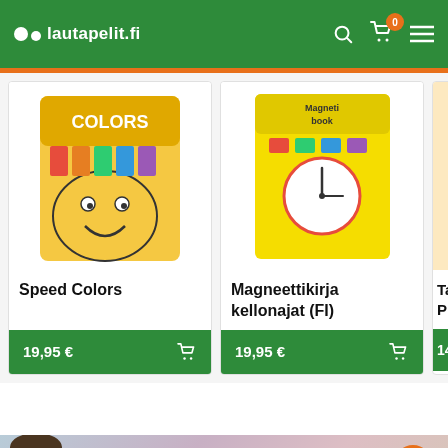[Figure (screenshot): lautapelit.fi website header with green background, logo with dots, search icon, cart icon with badge showing 0, and hamburger menu]
[Figure (photo): Speed Colors board game product image]
Speed Colors
19,95 €
[Figure (photo): Magneettikirja kellonajat (FI) product image]
Magneettikirja kellonajat (FI)
19,95 €
Taco Pizza (partial, 14,X €)
[Figure (photo): Bottom banner with purple graffiti-style text reading Hanabi and a person's face partially visible on left]